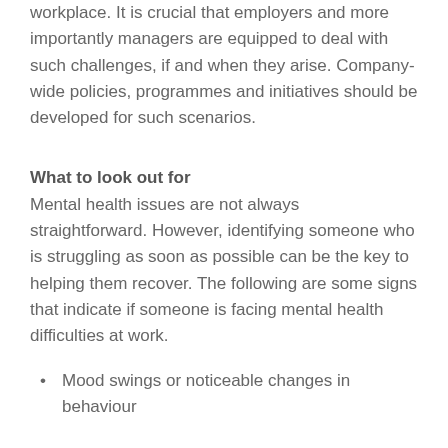workplace. It is crucial that employers and more importantly managers are equipped to deal with such challenges, if and when they arise. Company-wide policies, programmes and initiatives should be developed for such scenarios.
What to look out for
Mental health issues are not always straightforward. However, identifying someone who is struggling as soon as possible can be the key to helping them recover. The following are some signs that indicate if someone is facing mental health difficulties at work.
Mood swings or noticeable changes in behaviour